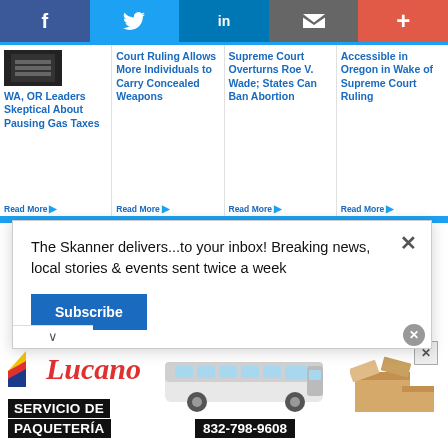[Figure (screenshot): Social media share bar with Facebook, Twitter, LinkedIn, Email, and Plus buttons]
WA, OR Leaders Skeptical About Pausing Gas Taxes
Court Ruling Allows More Individuals to Carry Concealed Weapons
Supreme Court Overturns Roe V. Wade; States Can Ban Abortion
Accessible in Oregon in Wake of Supreme Court Ruling
The Skanner delivers...to your inbox! Breaking news, local stories & events sent twice a week
[Figure (infographic): Autobuses Lucano advertisement with bus, boxes, SERVICIO DE PAQUETERÍA text and phone number 832-798-9608]